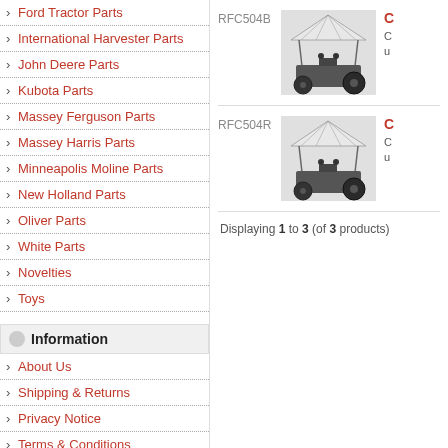Ford Tractor Parts
International Harvester Parts
John Deere Parts
Kubota Parts
Massey Ferguson Parts
Massey Harris Parts
Minneapolis Moline Parts
New Holland Parts
Oliver Parts
White Parts
Novelties
Toys
Information
About Us
Shipping & Returns
Privacy Notice
Terms & Conditions
Contact Us
[Figure (photo): Tractor with canopy top attachment, product RFC504B]
[Figure (photo): Tractor with canopy top attachment, product RFC504R]
Displaying 1 to 3 (of 3 products)